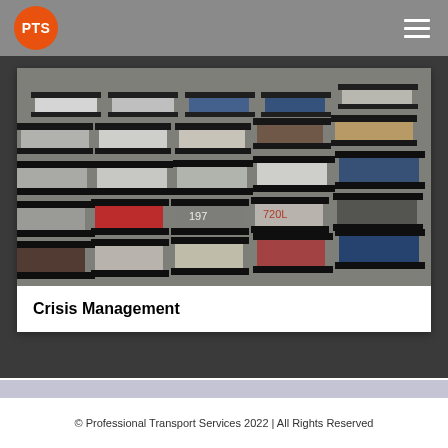PTS
[Figure (photo): Aerial view of many semi-truck trailers parked in rows in a logistics yard, viewed from above.]
Crisis Management
© Professional Transport Services 2022 | All Rights Reserved